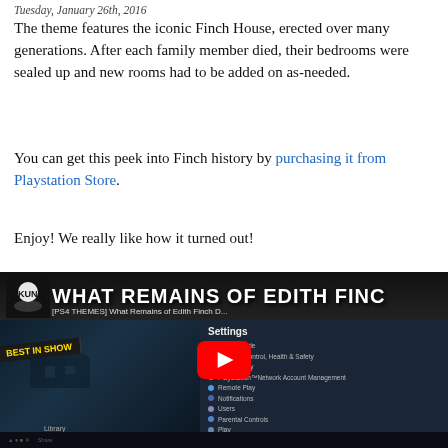Tuesday, January 26th, 2016
The theme features the iconic Finch House, erected over many generations. After each family member died, their bedrooms were sealed up and new rooms had to be added on as-needed.
You can get this peek into Finch history by purchasing it from Playstation Store.
Enjoy! We really like how it turned out!
[Figure (screenshot): YouTube video thumbnail/embed for '[PS4 THEMES] What Remains of Edith Finch D...' showing a PS4 settings screen with a game background featuring 'Best in Show' ribbon, Library menu, and Settings panel with menu items. A red YouTube play button is centered.]